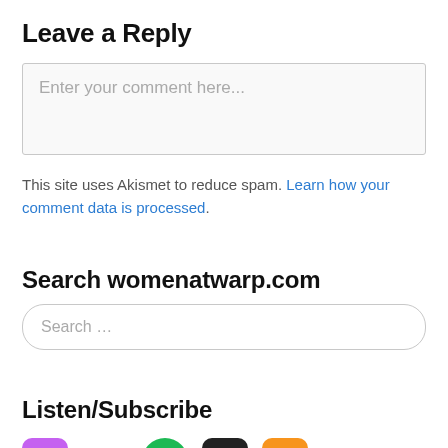Leave a Reply
Enter your comment here...
This site uses Akismet to reduce spam. Learn how your comment data is processed.
Search womenatwarp.com
Search …
Listen/Subscribe
[Figure (illustration): Row of podcast/subscription service icons: Apple Podcasts (purple), Stitcher (multicolor), Spotify (green), Overcast (black), RSS (orange), Amazon (text)]